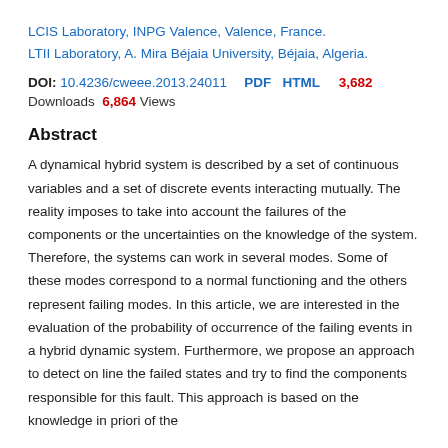LCIS Laboratory, INPG Valence, Valence, France.
LTII Laboratory, A. Mira Béjaia University, Béjaia, Algeria.
DOI: 10.4236/cweee.2013.24011  PDF  HTML  3,682 Downloads  6,864 Views
Abstract
A dynamical hybrid system is described by a set of continuous variables and a set of discrete events interacting mutually. The reality imposes to take into account the failures of the components or the uncertainties on the knowledge of the system. Therefore, the systems can work in several modes. Some of these modes correspond to a normal functioning and the others represent failing modes. In this article, we are interested in the evaluation of the probability of occurrence of the failing events in a hybrid dynamic system. Furthermore, we propose an approach to detect on line the failed states and try to find the components responsible for this fault. This approach is based on the knowledge in priori of the